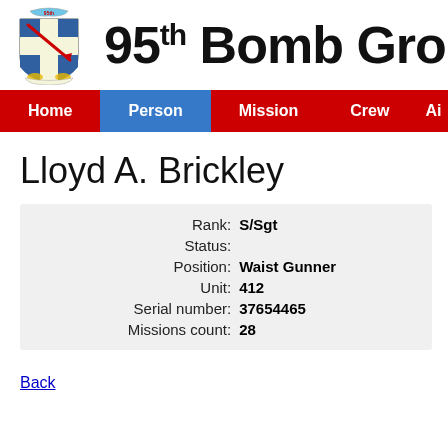[Figure (logo): 95th Bomb Group shield/crest logo with cross, red feather/arrow, blue and yellow elements, banner at bottom]
95th Bomb Group
Home | Person | Mission | Crew | Ai
Lloyd A. Brickley
| Field | Value |
| --- | --- |
| Rank: | S/Sgt |
| Status: |  |
| Position: | Waist Gunner |
| Unit: | 412 |
| Serial number: | 37654465 |
| Missions count: | 28 |
Back